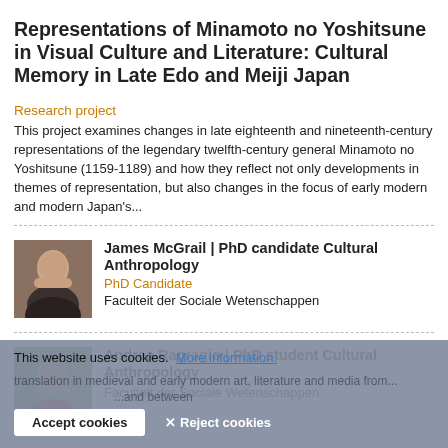Representations of Minamoto no Yoshitsune in Visual Culture and Literature: Cultural Memory in Late Edo and Meiji Japan
Research project
This project examines changes in late eighteenth and nineteenth-century representations of the legendary twelfth-century general Minamoto no Yoshitsune (1159-1189) and how they reflect not only developments in themes of representation, but also changes in the focus of early modern and modern Japan's...
James McGrail | PhD candidate Cultural Anthropology
PhD Candidate
Faculteit der Sociale Wetenschappen
[Figure (photo): Portrait photo of James McGrail]
Andrea Ragragio | PhD student Cultural Anthropology
Faculteit der Sociale Wetenschappen
[Figure (photo): Portrait photo of Andrea Ragragio]
Cultural Translation and Reception
Medieval and Early Modern Studies
A core interest of our cluster members concerns processes of reception, transformation and (interlingual and intermedial) translation in medieval and early modern art, literature and media from...
This website uses cookies.  More information.